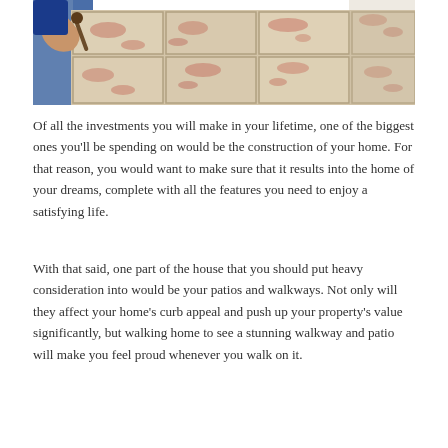[Figure (photo): A person laying decorative marble or stone tiles on a floor, using a tool to set the tiles. The tiles are large, light-colored with reddish-pink veining or patterns. Grouting lines are visible between the tiles.]
Of all the investments you will make in your lifetime, one of the biggest ones you'll be spending on would be the construction of your home. For that reason, you would want to make sure that it results into the home of your dreams, complete with all the features you need to enjoy a satisfying life.
With that said, one part of the house that you should put heavy consideration into would be your patios and walkways. Not only will they affect your home’s curb appeal and push up your property’s value significantly, but walking home to see a stunning walkway and patio will make you feel proud whenever you walk on it.